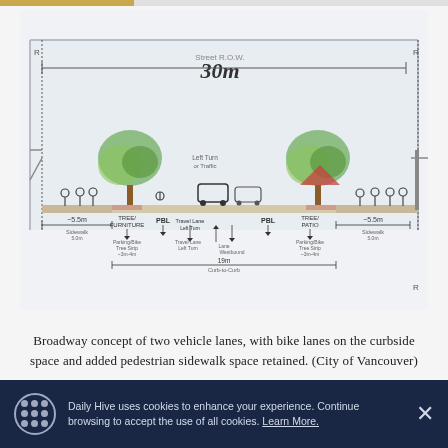[Figure (schematic): Hand-drawn cross-section sketch of Broadway street showing a 30m street right-of-way with two vehicle lanes, bike lanes on curbside, trees, pedestrians, cyclists, cars, and dimension annotations including sidewalk widths (~5.5m), tree/furniture zones, travel lanes, and a 19m curb-to-curb measurement.]
Broadway concept of two vehicle lanes, with bike lanes on the curbside space and added pedestrian sidewalk space retained. (City of Vancouver)
Daily Hive uses cookies to enhance your experience. Continue browsing to accept the use of all cookies. Learn More.